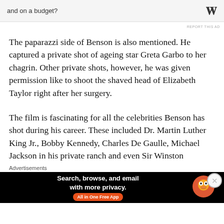[Figure (screenshot): Top advertisement banner with text 'and on a budget?' and WordPress logo, with 'REPORT THIS AD' label]
The paparazzi side of Benson is also mentioned. He captured a private shot of ageing star Greta Garbo to her chagrin. Other private shots, however, he was given permission like to shoot the shaved head of Elizabeth Taylor right after her surgery.
The film is fascinating for all the celebrities Benson has shot during his career. These included Dr. Martin Luther King Jr., Bobby Kennedy, Charles De Gaulle, Michael Jackson in his private ranch and even Sir Winston
Advertisements
[Figure (screenshot): DuckDuckGo advertisement banner: 'Search, browse, and email with more privacy. All in One Free App' with DuckDuckGo logo on dark background]